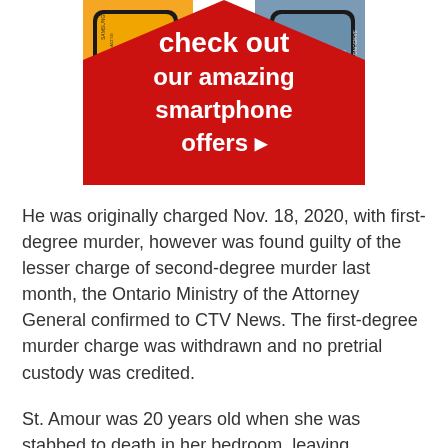[Figure (advertisement): Red diamond-shaped advertisement banner showing two Samsung smartphones (Galaxy A52 5G and Galaxy S21 5G) with white text reading 'check out our amazing smartphone offers' with a right-arrow.]
He was originally charged Nov. 18, 2020, with first-degree murder, however was found guilty of the lesser charge of second-degree murder last month, the Ontario Ministry of the Attorney General confirmed to CTV News. The first-degree murder charge was withdrawn and no pretrial custody was credited.
St. Amour was 20 years old when she was stabbed to death in her bedroom, leaving